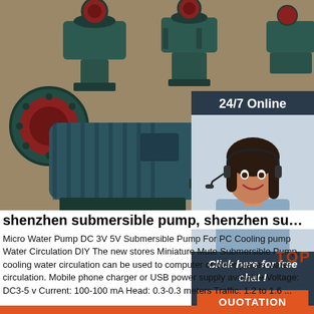[Figure (photo): Industrial water pumps (dark teal/blue electric motors with pump housings) arranged on a warehouse floor, multiple units visible]
[Figure (photo): Customer service representative: woman with headset smiling, with '24/7 Online' header and 'Click here for free chat!' and 'QUOTATION' button overlay]
shenzhen submersible pump, shenzhen subme...
Micro Water Pump DC 3V 5V Submersible Pump For PC Cooling pump Water Circulation DIY The new stores Miniature Mute Submersible Pump, cooling water circulation can be used to computer or other places water circulation. Mobile phone charger or USB power supply available Voltage: DC3-5 v Current: 100-100 mA Head: 0.3-0.3 meters Traffic: 1.2 to 1.6 ...